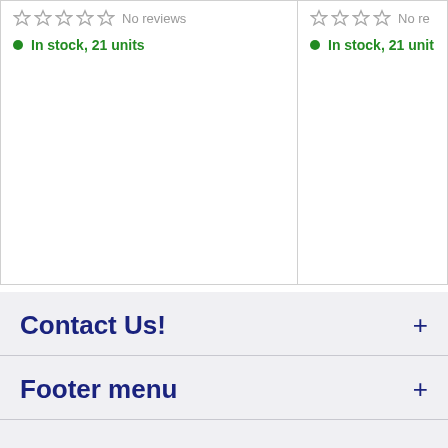No reviews
In stock, 21 units
No re
In stock, 21 unit
Contact Us!
Footer menu